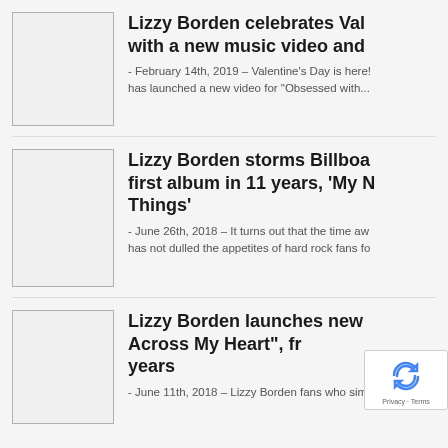[Figure (photo): Thumbnail image placeholder for first article]
Lizzy Borden celebrates Valentine's Day with a new music video and...
- February 14th, 2019 – Valentine's Day is here! … has launched a new video for "Obsessed with..."
[Figure (photo): Thumbnail image placeholder for second article]
Lizzy Borden storms Billboard with first album in 11 years, 'My Midnight Things'
- June 26th, 2018 – It turns out that the time aw… has not dulled the appetites of hard rock fans fo…
[Figure (photo): Thumbnail image placeholder for third article]
Lizzy Borden launches new "Across My Heart", fr… years
- June 11th, 2018 – Lizzy Borden fans who simp…